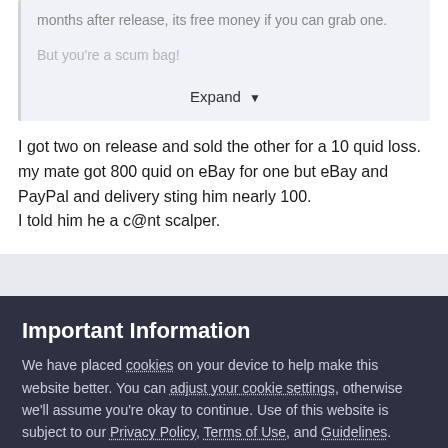months after release, its free money if you can grab one. But you're a scum bag!
Expand
I got two on release and sold the other for a 10 quid loss. my mate got 800 quid on eBay for one but eBay and PayPal and delivery sting him nearly 100. I told him he a c@nt scalper.
Important Information
We have placed cookies on your device to help make this website better. You can adjust your cookie settings, otherwise we'll assume you're okay to continue. Use of this website is subject to our Privacy Policy, Terms of Use, and Guidelines.
✔ I accept